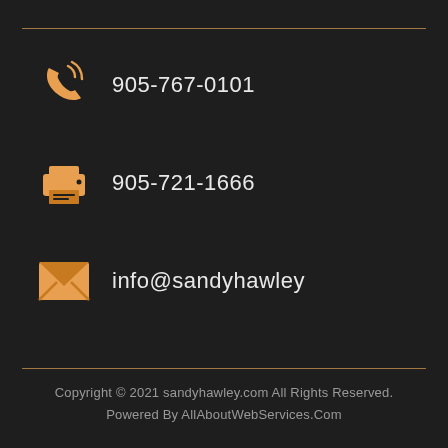905-767-0101
905-721-1666
info@sandyhawley
Copyright © 2021 sandyhawley.com All Rights Reserved.
Powered By AllAboutWebServices.Com